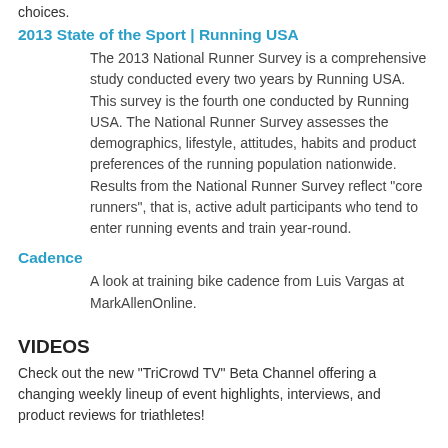choices.
2013 State of the Sport | Running USA
The 2013 National Runner Survey is a comprehensive study conducted every two years by Running USA. This survey is the fourth one conducted by Running USA. The National Runner Survey assesses the demographics, lifestyle, attitudes, habits and product preferences of the running population nationwide. Results from the National Runner Survey reflect "core runners", that is, active adult participants who tend to enter running events and train year-round.
Cadence
A look at training bike cadence from Luis Vargas at MarkAllenOnline.
VIDEOS
Check out the new "TriCrowd TV" Beta Channel offering a changing weekly lineup of event highlights, interviews, and product reviews for triathletes!